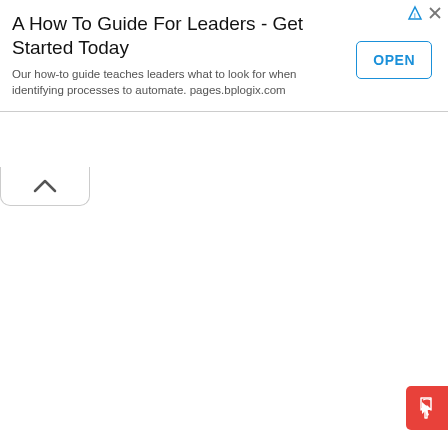[Figure (other): Advertisement banner: 'A How To Guide For Leaders - Get Started Today' with OPEN button, info icon, close icon, and body text about bplogix.com]
[Figure (other): Collapse/chevron tab below the ad banner]
[Figure (other): Red feedback/cursor button in the bottom-right corner]